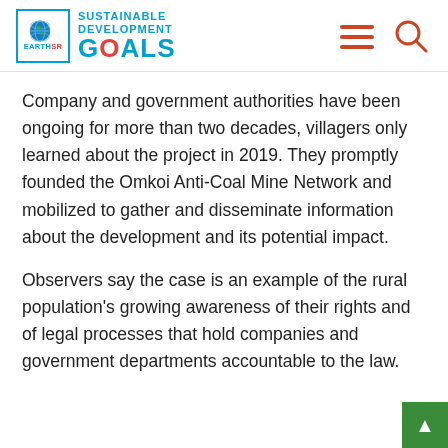SUSTAINABLE DEVELOPMENT GOALS — EarthSR logo with navigation menu and search icons
Company and government authorities have been ongoing for more than two decades, villagers only learned about the project in 2019. They promptly founded the Omkoi Anti-Coal Mine Network and mobilized to gather and disseminate information about the development and its potential impact.
Observers say the case is an example of the rural population's growing awareness of their rights and of legal processes that hold companies and government departments accountable to the law.